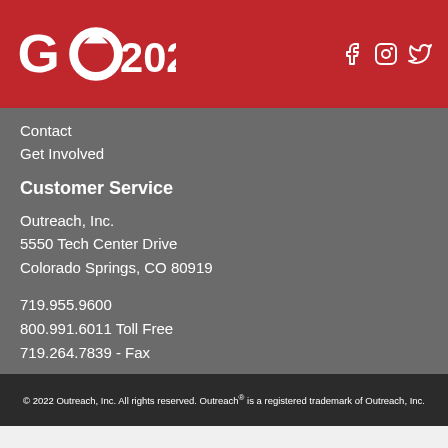GO2020
Contact
Get Involved
Customer Service
Outreach, Inc.
5550 Tech Center Drive
Colorado Springs, CO 80919
719.955.9600
800.991.6011 Toll Free
719.264.7839 - Fax
customerservice@outreach.com
© 2022 Outreach, Inc. All rights reserved. Outreach® is a registered trademark of Outreach, Inc.